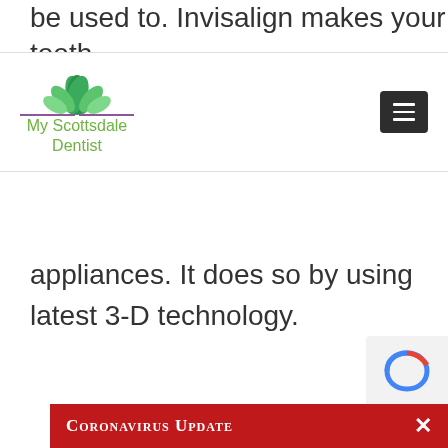be used to. Invisalign makes your teeth
[Figure (logo): My Scottsdale Dentist logo with green lotus flower and purple underline, alongside a dark hamburger menu button]
appliances. It does so by using latest 3-D technology.
[Figure (other): reCAPTCHA widget partially visible in bottom right corner]
Coronavirus Update